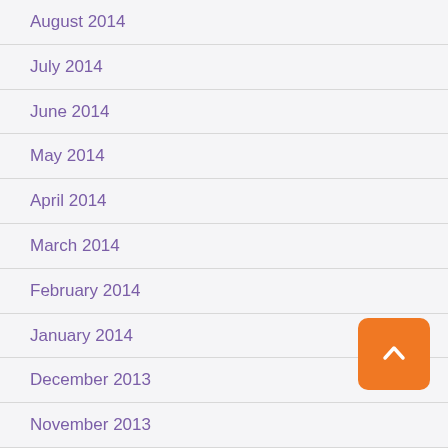August 2014
July 2014
June 2014
May 2014
April 2014
March 2014
February 2014
January 2014
December 2013
November 2013
October 2013
September 2013